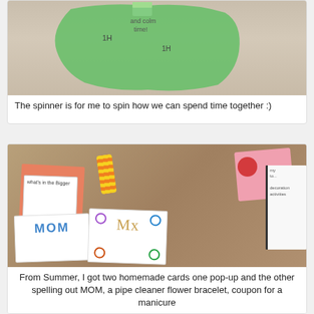[Figure (photo): A green paper spinner craft on a wooden floor surface with hand-drawn markings]
The spinner is for me to spin how we can spend time together :)
[Figure (photo): A collection of homemade Mother's Day gifts on a wooden table: two handmade cards (one pop-up, one spelling MOM), a pipe cleaner flower bracelet, and other crafts]
From Summer, I got two homemade cards one pop-up and the other spelling out MOM, a pipe cleaner flower bracelet, coupon for a manicure